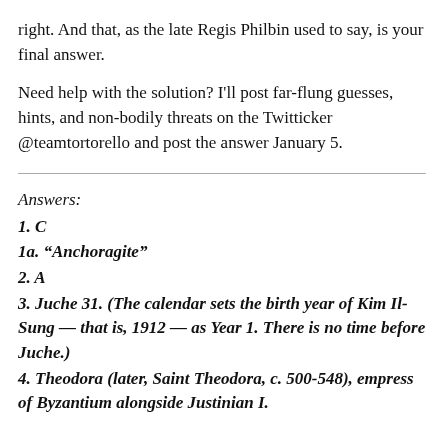right. And that, as the late Regis Philbin used to say, is your final answer.
Need help with the solution? I'll post far-flung guesses, hints, and non-bodily threats on the Twitticker @teamtortorello and post the answer January 5.
Answers:
1. C
1a. “Anchoragite”
2. A
3. Juche 31. (The calendar sets the birth year of Kim Il-Sung — that is, 1912 — as Year 1. There is no time before Juche.)
4. Theodora (later, Saint Theodora, c. 500-548), empress of Byzantium alongside Justinian I.